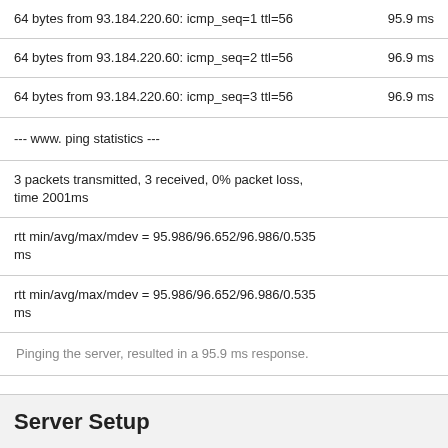| 64 bytes from 93.184.220.60: icmp_seq=1 ttl=56 | 95.9 ms |
| 64 bytes from 93.184.220.60: icmp_seq=2 ttl=56 | 96.9 ms |
| 64 bytes from 93.184.220.60: icmp_seq=3 ttl=56 | 96.9 ms |
| --- www. ping statistics --- |  |
| 3 packets transmitted, 3 received, 0% packet loss, time 2001ms |  |
| rtt min/avg/max/mdev = 95.986/96.652/96.986/0.535 ms |  |
| rtt min/avg/max/mdev = 95.986/96.652/96.986/0.535 ms |  |
| Pinging the server, resulted in a 95.9 ms response. |  |
Server Setup
| Allow: | GET POST OPTIONS |